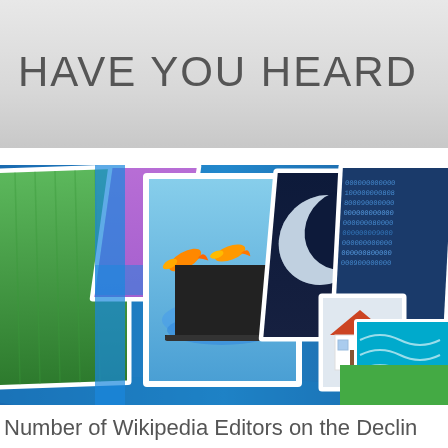HAVE YOU HEARD
[Figure (photo): A collage of various images displayed as overlapping panels/cards in perspective: green grass, magenta/pink abstract, goldfish jumping out of a laptop screen with water splash, moon/space image, binary code/data visualization, a small house model, and other colorful panels arranged in a sweeping fan layout on a blue gradient background.]
Number of Wikipedia Editors on the Decline